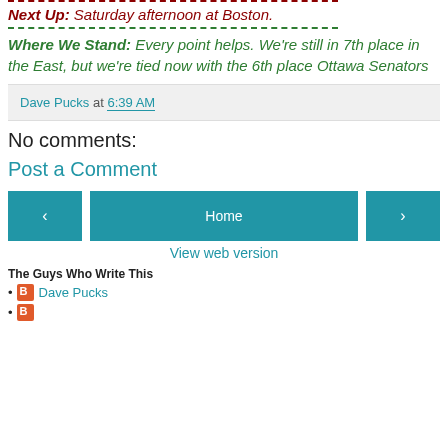Next Up: Saturday afternoon at Boston.
Where We Stand: Every point helps. We're still in 7th place in the East, but we're tied now with the 6th place Ottawa Senators
Dave Pucks at 6:39 AM
No comments:
Post a Comment
Home
View web version
The Guys Who Write This
Dave Pucks